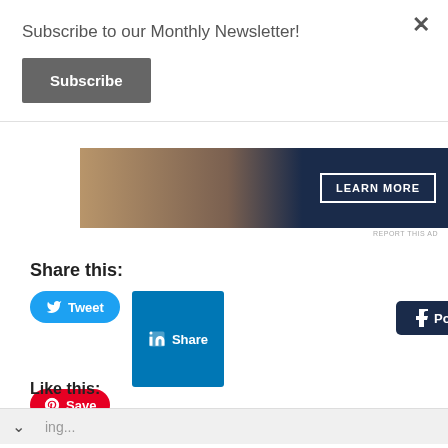Subscribe to our Monthly Newsletter!
Subscribe
[Figure (screenshot): Advertisement banner with image and LEARN MORE button on dark navy background]
Share this:
[Figure (screenshot): Social share buttons: Tweet (Twitter/blue pill), Share (LinkedIn/blue square), Post (Tumblr/dark navy), Save (Pinterest/red pill)]
Like this:
ing...